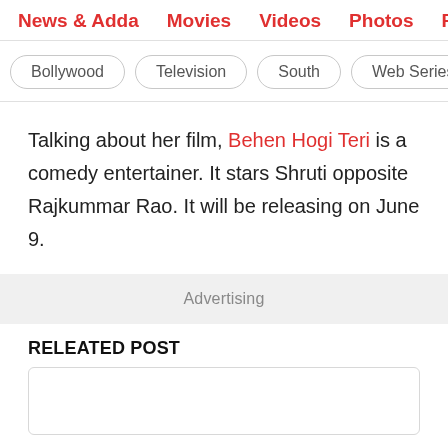News & Adda  Movies  Videos  Photos  Reviews  Box
Bollywood  Television  South  Web Series  Inte
Talking about her film, Behen Hogi Teri is a comedy entertainer. It stars Shruti opposite Rajkummar Rao. It will be releasing on June 9.
Advertising
RELEATED POST